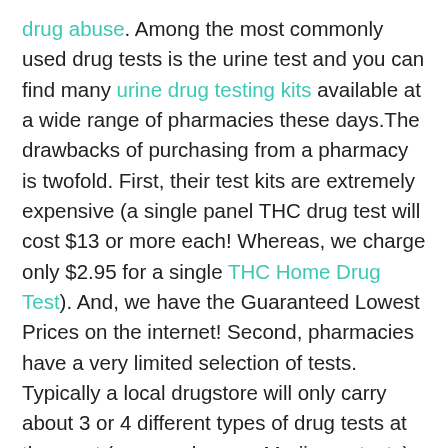drug abuse. Among the most commonly used drug tests is the urine test and you can find many urine drug testing kits available at a wide range of pharmacies these days.The drawbacks of purchasing from a pharmacy is twofold. First, their test kits are extremely expensive (a single panel THC drug test will cost $13 or more each! Whereas, we charge only $2.95 for a single THC Home Drug Test). And, we have the Guaranteed Lowest Prices on the internet! Second, pharmacies have a very limited selection of tests. Typically a local drugstore will only carry about 3 or 4 different types of drug tests at the most (many only carry Marijuana tests). Whereas, we carry perhaps the largest selection of drug test kits on the internet today. With this large selection of drug tests, you can find out the presence or absence of nearly any specific drug. One of the major advantages with the urine drug testing kits is that up to 12 different drugs can be detected